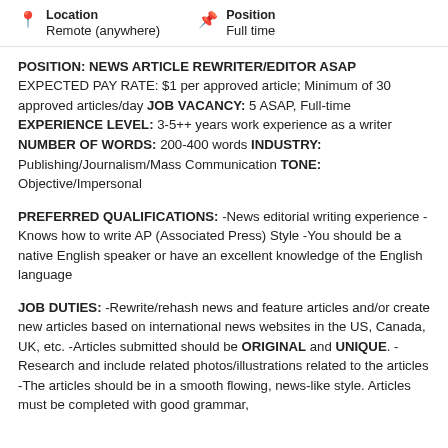Location: Remote (anywhere) | Position: Full time
POSITION: NEWS ARTICLE REWRITER/EDITOR ASAP EXPECTED PAY RATE: $1 per approved article; Minimum of 30 approved articles/day JOB VACANCY: 5 ASAP, Full-time EXPERIENCE LEVEL: 3-5++ years work experience as a writer NUMBER OF WORDS: 200-400 words INDUSTRY: Publishing/Journalism/Mass Communication TONE: Objective/Impersonal
PREFERRED QUALIFICATIONS: -News editorial writing experience -Knows how to write AP (Associated Press) Style -You should be a native English speaker or have an excellent knowledge of the English language
JOB DUTIES: -Rewrite/rehash news and feature articles and/or create new articles based on international news websites in the US, Canada, UK, etc. -Articles submitted should be ORIGINAL and UNIQUE. -Research and include related photos/illustrations related to the articles -The articles should be in a smooth flowing, news-like style. Articles must be completed with good grammar,